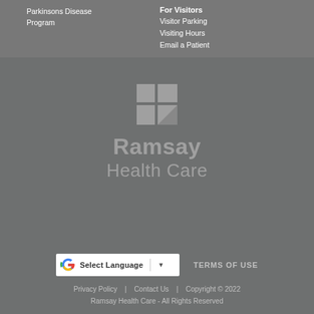Parkinsons Disease Program
For Visitors
Visitor Parking
Visiting Hours
Email a Patient
[Figure (logo): Ramsay Health Care logo with Windows-style 4-square icon in grey, text 'Ramsay Health Care' in grey]
TERMS OF USE
Privacy Policy | Contact Us | Copyright © 2022 Ramsay Health Care - All Rights Reserved